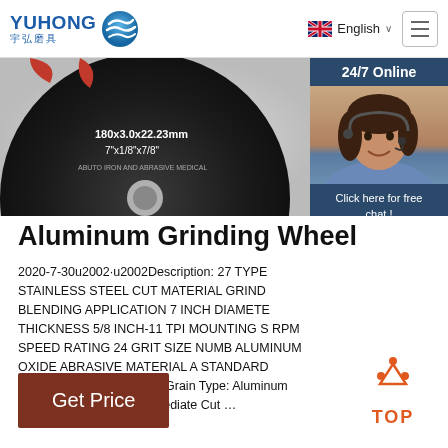YUHONG 宇弘磨具 | English
[Figure (photo): Aluminum grinding wheel product photo showing disc labeled 180x3.0x22.23mm 7x1/8x7/8, dark circular abrasive wheel on grey background; with 24/7 Online customer service agent photo panel overlay on right]
Aluminum Grinding Wheel
2020-7-30u2002·u2002Description: 27 TYPE STAINLESS STEEL CUT MATERIAL GRIND BLENDING APPLICATION 7 INCH DIAMETER THICKNESS 5/8 INCH-11 TPI MOUNTING S RPM SPEED RATING 24 GRIT SIZE NUMB ALUMINUM OXIDE ABRASIVE MATERIAL A STANDARD DESIGNATION . Abrasive Grain Type: Aluminum Oxide Applications: Intermediate Cut …
[Figure (infographic): Get Price brown button and TOP scroll-to-top icon with orange dots and orange text]